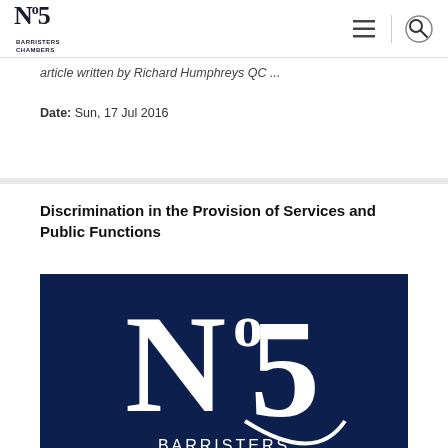No5 Barristers Chambers — navigation header
article written by Richard Humphreys QC ...
Date: Sun, 17 Jul 2016
Discrimination in the Provision of Services and Public Functions
[Figure (logo): No5 Barristers Chambers logo — large white text on dark navy blue background, showing 'No5' in serif font with 'BARRISTERS CHAMBERS' below]